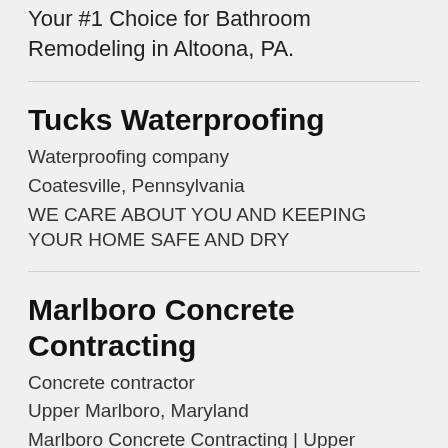Your #1 Choice for Bathroom Remodeling in Altoona, PA.
Tucks Waterproofing
Waterproofing company
Coatesville, Pennsylvania
WE CARE ABOUT YOU AND KEEPING YOUR HOME SAFE AND DRY
Marlboro Concrete Contracting
Concrete contractor
Upper Marlboro, Maryland
Marlboro Concrete Contracting | Upper Marlboro, MD